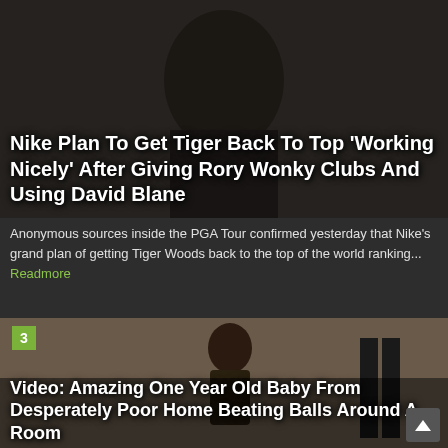[Figure (photo): Background image of a person (likely Tiger Woods) with white text overlay headline about Nike's plan]
Nike Plan To Get Tiger Back To Top 'Working Nicely' After Giving Rory Wonky Clubs And Using David Blane
Anonymous sources inside the PGA Tour confirmed yesterday that Nike's grand plan of getting Tiger Woods back to the top of the world ranking... Readmore
[Figure (photo): A toddler (approximately one year old) walking in a room with an adult visible in the background. Badge showing number 3 in upper left.]
Video: Amazing One Year Old Baby From Desperately Poor Home Beating Balls Around A Room
This kid is 17 months old (and still technically one year old, I checked).  His parents are so poor they cannot afford any furniture in thei... Readmore